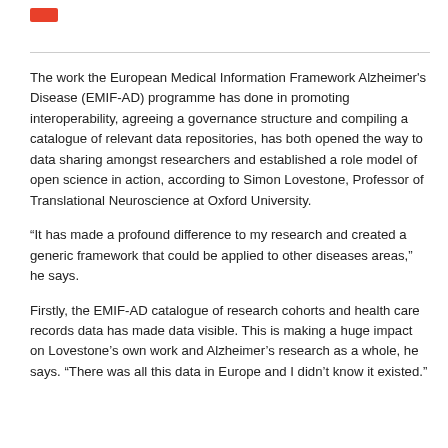[Figure (logo): Small red/orange rectangular logo mark in top left corner]
The work the European Medical Information Framework Alzheimer's Disease (EMIF-AD) programme has done in promoting interoperability, agreeing a governance structure and compiling a catalogue of relevant data repositories, has both opened the way to data sharing amongst researchers and established a role model of open science in action, according to Simon Lovestone, Professor of Translational Neuroscience at Oxford University.
“It has made a profound difference to my research and created a generic framework that could be applied to other diseases areas,” he says.
Firstly, the EMIF-AD catalogue of research cohorts and health care records data has made data visible. This is making a huge impact on Lovestone’s own work and Alzheimer’s research as a whole, he says. “There was all this data in Europe and I didn’t know it existed.”